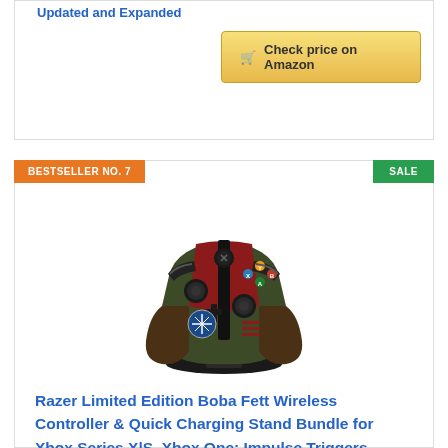Updated and Expanded
Check price on Amazon
BESTSELLER NO. 7
SALE
[Figure (photo): Razer Limited Edition Boba Fett Xbox wireless controller and quick charging stand, showing a dark olive/red colored controller with Boba Fett Star Wars themed design, sitting in a charging dock]
Razer Limited Edition Boba Fett Wireless Controller & Quick Charging Stand Bundle for Xbox Series X|S, Xbox One: Impulse Triggers - Textured Grips - 12hr Battery Life - Magnetic